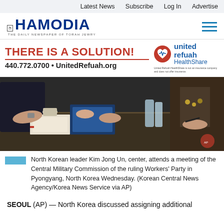Latest News   Subscribe   Log In   Advertise
[Figure (logo): Hamodia newspaper logo — Hebrew characters, HAMODIA in bold blue, subtitle: THE DAILY NEWSPAPER OF TORAH JEWRY]
[Figure (infographic): United Refuah HealthShare advertisement: THERE IS A SOLUTION! 440.772.0700 • UnitedRefuah.org, with heart logo and brand name]
[Figure (photo): North Korean leader Kim Jong Un, center, attends a meeting of the Central Military Commission of the ruling Workers' Party in Pyongyang, North Korea Wednesday.]
North Korean leader Kim Jong Un, center, attends a meeting of the Central Military Commission of the ruling Workers' Party in Pyongyang, North Korea Wednesday. (Korean Central News Agency/Korea News Service via AP)
SEOUL (AP) — North Korea discussed assigning additional